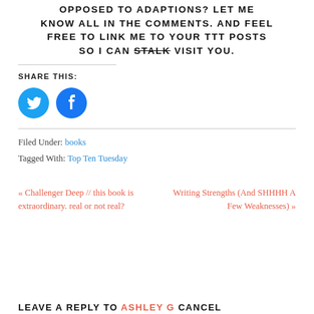OPPOSED TO ADAPTIONS? LET ME KNOW ALL IN THE COMMENTS. AND FEEL FREE TO LINK ME TO YOUR TTT POSTS SO I CAN STALK VISIT YOU.
SHARE THIS:
[Figure (illustration): Twitter and Facebook share icon buttons (blue circles with white bird and f logos)]
Filed Under: books
Tagged With: Top Ten Tuesday
« Challenger Deep // this book is extraordinary. real or not real?
Writing Strengths (And SHHHH A Few Weaknesses) »
LEAVE A REPLY TO ASHLEY G CANCEL